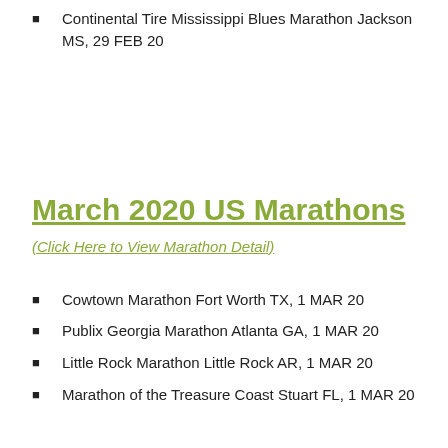Continental Tire Mississippi Blues Marathon Jackson MS, 29 FEB 20
March 2020 US Marathons
(Click Here to View Marathon Detail)
Cowtown Marathon Fort Worth TX, 1 MAR 20
Publix Georgia Marathon Atlanta GA, 1 MAR 20
Little Rock Marathon Little Rock AR, 1 MAR 20
Marathon of the Treasure Coast Stuart FL, 1 MAR 20